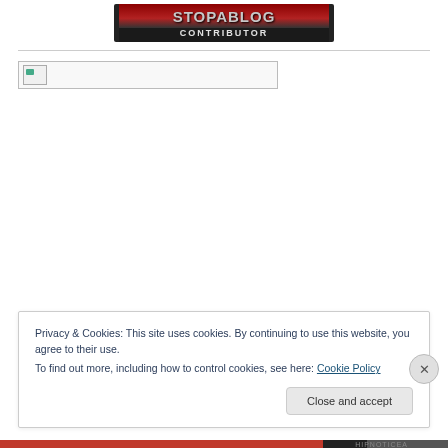[Figure (logo): StopAblog Contributor banner logo — dark background with red stylized text 'STOPABLOG' above the word 'CONTRIBUTOR' in white capital letters]
[Figure (photo): Broken image placeholder — small broken image icon with green element in top-left corner, inside a bordered rectangle]
Privacy & Cookies: This site uses cookies. By continuing to use this website, you agree to their use.
To find out more, including how to control cookies, see here: Cookie Policy
Close and accept